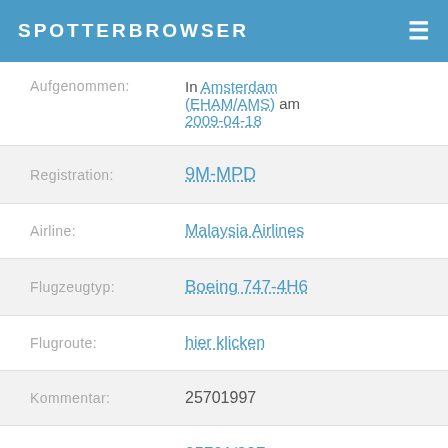SPOTTERBROWSER
Aufgenommen: In Amsterdam (EHAM/AMS) am 2009-04-18
Registration: 9M-MPD
Airline: Malaysia Airlines
Flugzeugtyp: Boeing 747-4H6
Flugroute: hier klicken
Kommentar: 25701997
C/N: 25701/997